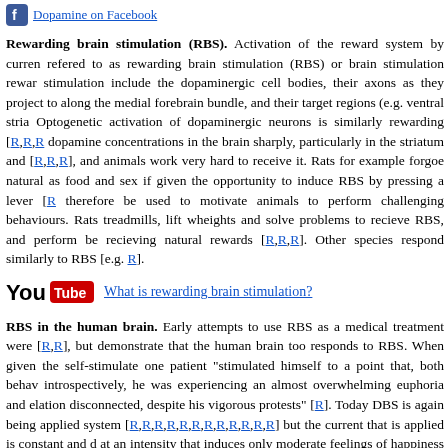Dopamine on Facebook
Rewarding brain stimulation (RBS). Activation of the reward system by current refered to as rewarding brain stimulation (RBS) or brain stimulation reward. stimulation include the dopaminergic cell bodies, their axons as they project to along the medial forebrain bundle, and their target regions (e.g. ventral stria Optogenetic activation of dopaminergic neurons is similarly rewarding [R,R,R dopamine concentrations in the brain sharply, particularly in the striatum and [R,R,R], and animals work very hard to receive it. Rats for example forgoe natural as food and sex if given the opportunity to induce RBS by pressing a lever [R therefore be used to motivate animals to perform challenging behaviours. Rats treadmills, lift wheights and solve problems to recieve RBS, and perform be recieving natural rewards [R,R,R]. Other species respond similarly to RBS [e.g. R].
[Figure (logo): YouTube logo followed by link 'What is rewarding brain stimulation?']
RBS in the human brain. Early attempts to use RBS as a medical treatment were [R,R], but demonstrate that the human brain too responds to RBS. When given the self-stimulate one patient "stimulated himself to a point that, both behav introspectively, he was experiencing an almost overwhelming euphoria and elation disconnected, despite his vigorous protests" [R]. Today DBS is again being applied system [R,R,R,R,R,R,R,R,R,R,R,R] but the current that is applied is constant and d at an intensity that induces only moderate feelings of happiness [R]. A constant st